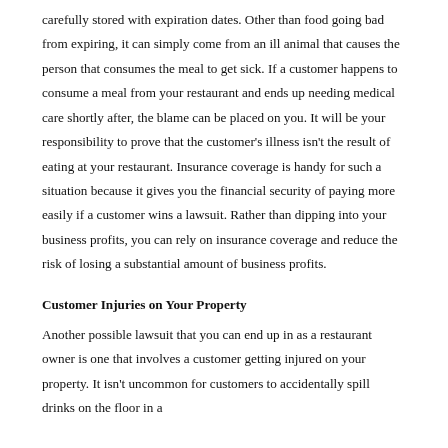carefully stored with expiration dates. Other than food going bad from expiring, it can simply come from an ill animal that causes the person that consumes the meal to get sick. If a customer happens to consume a meal from your restaurant and ends up needing medical care shortly after, the blame can be placed on you. It will be your responsibility to prove that the customer's illness isn't the result of eating at your restaurant. Insurance coverage is handy for such a situation because it gives you the financial security of paying more easily if a customer wins a lawsuit. Rather than dipping into your business profits, you can rely on insurance coverage and reduce the risk of losing a substantial amount of business profits.
Customer Injuries on Your Property
Another possible lawsuit that you can end up in as a restaurant owner is one that involves a customer getting injured on your property. It isn't uncommon for customers to accidentally spill drinks on the floor in a